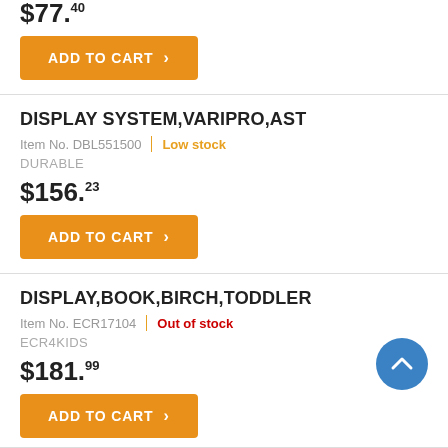$77.40
ADD TO CART
DISPLAY SYSTEM,VARIPRO,AST
Item No. DBL551500 | Low stock
DURABLE
$156.23
ADD TO CART
DISPLAY,BOOK,BIRCH,TODDLER
Item No. ECR17104 | Out of stock
ECR4KIDS
$181.99
ADD TO CART